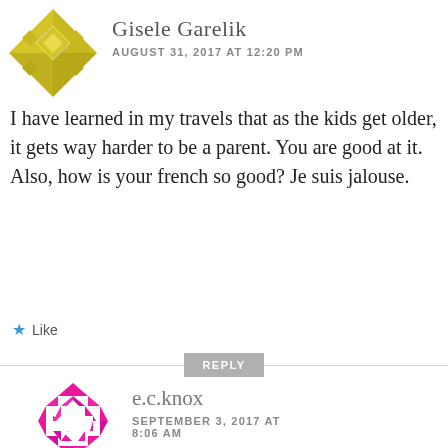[Figure (illustration): Circular avatar with golden/olive geometric diamond pattern on white background]
Gisele Garelik
AUGUST 31, 2017 AT 12:20 PM
I have learned in my travels that as the kids get older, it gets way harder to be a parent. You are good at it. Also, how is your french so good? Je suis jalouse.
★ Like
REPLY
[Figure (illustration): Circular avatar with hot pink/magenta geometric triangular pattern forming a ring shape on white background]
e.c.knox
SEPTEMBER 3, 2017 AT 8:06 AM